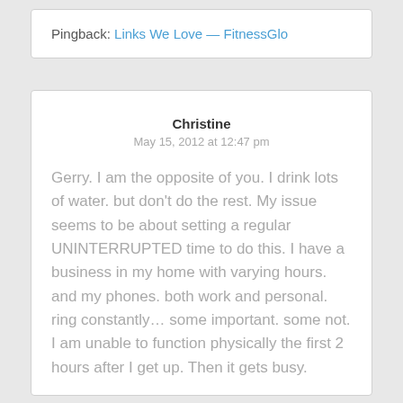Pingback: Links We Love — FitnessGlo
Christine
May 15, 2012 at 12:47 pm
Gerry. I am the opposite of you. I drink lots of water. but don't do the rest. My issue seems to be about setting a regular UNINTERRUPTED time to do this. I have a business in my home with varying hours. and my phones. both work and personal. ring constantly… some important. some not. I am unable to function physically the first 2 hours after I get up. Then it gets busy.